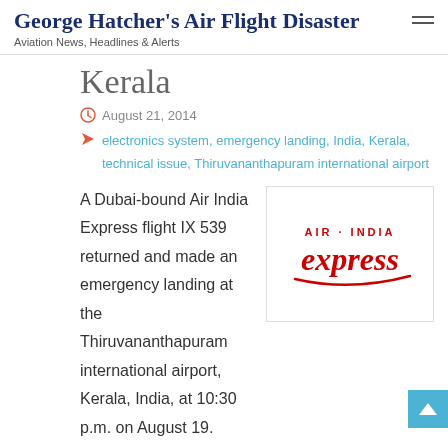George Hatcher's Air Flight Disaster
Aviation News, Headlines & Alerts
Kerala
August 21, 2014
electronics system, emergency landing, India, Kerala, technical issue, Thiruvananthapuram international airport
[Figure (logo): Air India Express logo in red with stylized text]
A Dubai-bound Air India Express flight IX 539 returned and made an emergency landing at the Thiruvananthapuram international airport, Kerala, India, at 10:30 p.m. on August 19.